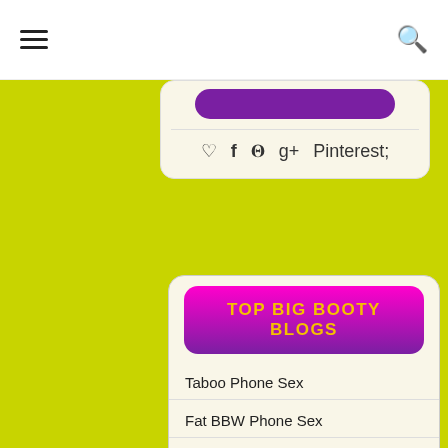Navigation bar with hamburger menu and search icon
[Figure (screenshot): Partial top card with purple button and social share icons (heart, facebook, twitter, google+, pinterest)]
[Figure (screenshot): Main card with gradient magenta-to-purple button labeled TOP BIG BOOTY BLOGS]
Taboo Phone Sex
Fat BBW Phone Sex
Princess Phone Sex